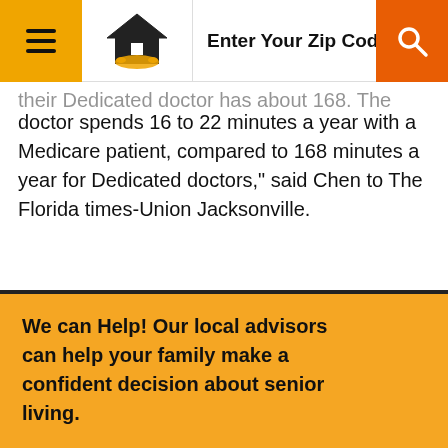Enter Your Zip Code, State,
their Dedicated doctor has about 168. The typical doctor spends 16 to 22 minutes a year with a Medicare patient, compared to 168 minutes a year for Dedicated doctors," said Chen to The Florida times-Union Jacksonville.
With more time to spend with their Dedicated doctors, Chen is hoping that this will result in fewer hospital and emergency room admissions.
We can Help! Our local advisors can help your family make a confident decision about senior living.